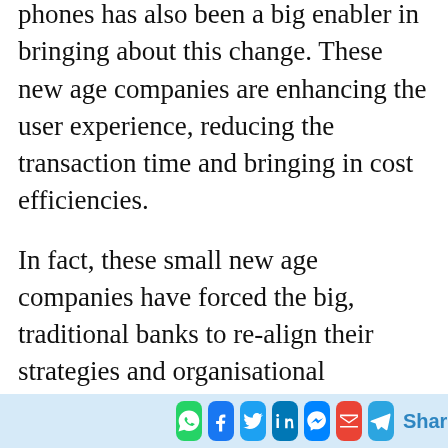phones has also been a big enabler in bringing about this change. These new age companies are enhancing the user experience, reducing the transaction time and bringing in cost efficiencies.
In fact, these small new age companies have forced the big, traditional banks to re-align their strategies and organisational capabilities to incorporate technological advancements and deliver a superior customer experience. Can the big banks change to match the friction-less experience offered to customers by smaller fintech companies? W